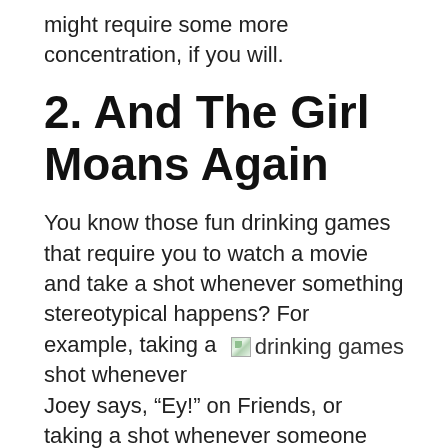might require some more concentration, if you will.
2. And The Girl Moans Again
You know those fun drinking games that require you to watch a movie and take a shot whenever something stereotypical happens? For example, taking a shot whenever Joey says, “Ey!” on Friends, or taking a shot whenever someone says, “You will shoot
[Figure (photo): Broken image icon placeholder with label 'drinking games']